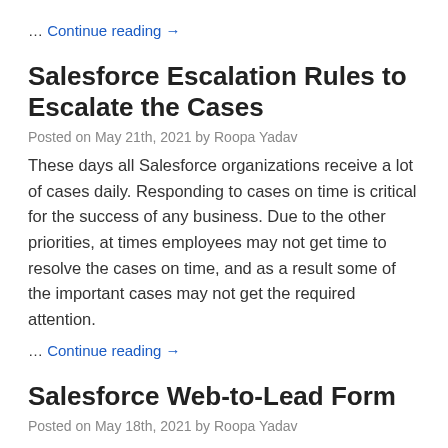… Continue reading →
Salesforce Escalation Rules to Escalate the Cases
Posted on May 21th, 2021 by Roopa Yadav
These days all Salesforce organizations receive a lot of cases daily. Responding to cases on time is critical for the success of any business. Due to the other priorities, at times employees may not get time to resolve the cases on time, and as a result some of the important cases may not get the required attention.
… Continue reading →
Salesforce Web-to-Lead Form
Posted on May 18th, 2021 by Roopa Yadav
Every organization, whether it is small or large, has a website. With the help of marketing